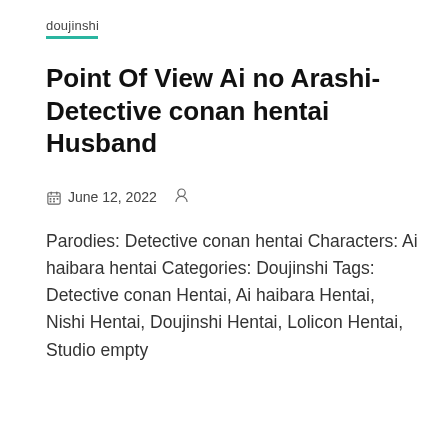doujinshi
Point Of View Ai no Arashi- Detective conan hentai Husband
June 12, 2022
Parodies: Detective conan hentai Characters: Ai haibara hentai Categories: Doujinshi Tags: Detective conan Hentai, Ai haibara Hentai, Nishi Hentai, Doujinshi Hentai, Lolicon Hentai, Studio empty
Shows More
[Figure (illustration): Anime illustration from Detective Conan doujinshi showing characters, with overlaid text reading DETECTIVE CONAN UNOFFICIAL FAN, BOURBON x CONAN, PRESENTED BY RIBU. A teal scroll-to-top button with upward arrow is in the top right corner.]